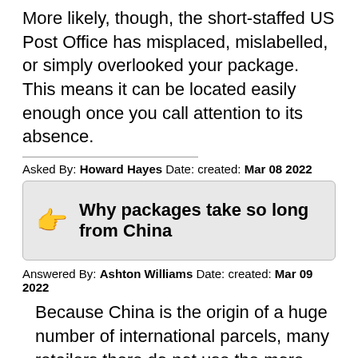More likely, though, the short-staffed US Post Office has misplaced, mislabelled, or simply overlooked your package. This means it can be located easily enough once you call attention to its absence.
Asked By: Howard Hayes Date: created: Mar 08 2022
Why packages take so long from China
Answered By: Ashton Williams Date: created: Mar 09 2022
Because China is the origin of a huge number of international parcels, many retailers there do not use the more well known carriers to get parcels to the destination country. There are private